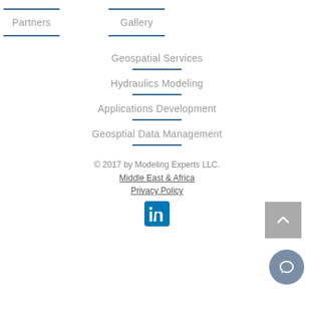Partners
Gallery
Geospatial Services
Hydraulics Modeling
Applications Development
Geosptial Data Management
© 2017 by Modeling Experts LLC.
Middle East & Africa
Privacy Policy